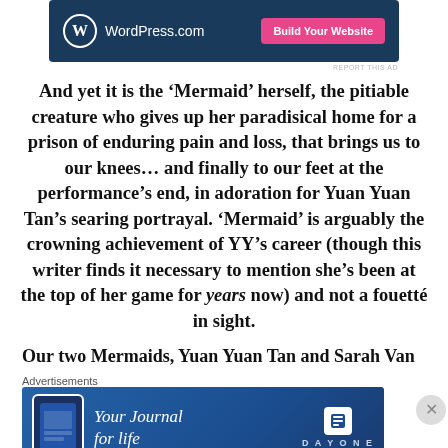[Figure (screenshot): WordPress.com advertisement banner with dark blue background, WordPress logo on left, and pink 'Build Your Website' button on right]
REPORT THIS AD
And yet it is the ‘Mermaid’ herself, the pitiable creature who gives up her paradisical home for a prison of enduring pain and loss, that brings us to our knees… and finally to our feet at the performance’s end, in adoration for Yuan Yuan Tan’s searing portrayal. ‘Mermaid’ is arguably the crowning achievement of YY’s career (though this writer finds it necessary to mention she’s been at the top of her game for years now) and not a fouetté in sight.
Our two Mermaids, Yuan Yuan Tan and Sarah Van
Advertisements
[Figure (screenshot): Day One 'Your Journal for life' advertisement with blue gradient background, phone mockup on left, and Day One logo on right]